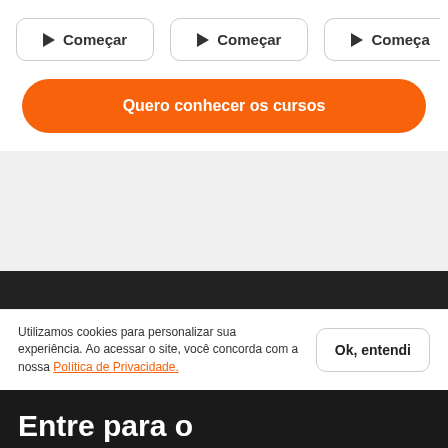[Figure (screenshot): Three 'Começar' (Start) buttons with play icons, side by side in rounded rectangle borders]
Quero conhecer os cursos
[Figure (screenshot): Gray content area placeholder]
[Figure (screenshot): Dark navigation/header bar]
Utilizamos cookies para personalizar sua experiência. Ao acessar o site, você concorda com a nossa Política de Privacidade.
Ok, entendi
Entre para o Cifra Club PRO